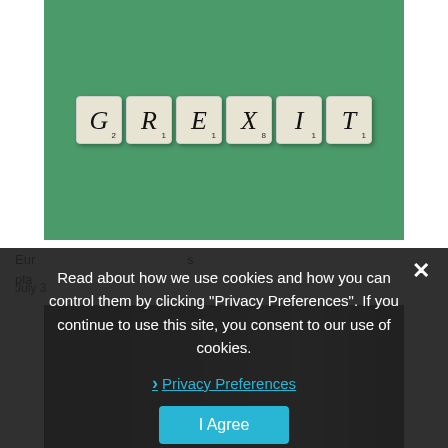[Figure (photo): Scrabble tiles spelling GREXIT on a green background. Tiles show: G2, R1, E1, X8, I1, T1]
Eur... place...
July 3...
[Figure (photo): Partially visible dark image at bottom of page]
Read about how we use cookies and how you can control them by clicking "Privacy Preferences". If you continue to use this site, you consent to our use of cookies.
Privacy Preferences
I Agree